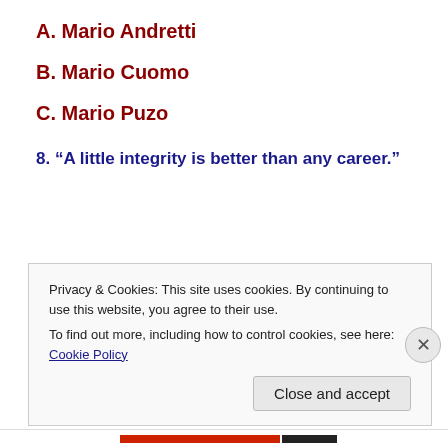A. Mario Andretti
B. Mario Cuomo
C. Mario Puzo
8. “A little integrity is better than any career.”
Privacy & Cookies: This site uses cookies. By continuing to use this website, you agree to their use.
To find out more, including how to control cookies, see here: Cookie Policy
Close and accept